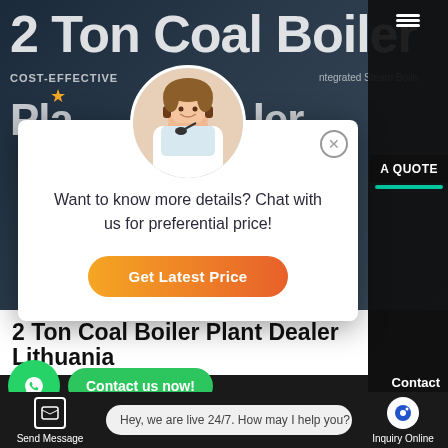2 Ton Coal Boiler Plant Dealer Lithuania
COST-EFFECTIVE SUPPLIER Integrated Steam Boiler
[Figure (screenshot): Website screenshot with chat popup overlay. A customer service representative popup dialog box reads: 'Want to know more details? Chat with us for preferential price!' with an orange 'Get Latest Price' button. Background shows a boiler product website with navigation sidebar containing Chat, Email, Contact options.]
Want to know more details? Chat with us for preferential price!
Get Latest Price
Chat
Email
Contact us now!
Contact
HOT NEWS
Hey, we are live 24/7. How may I help you?
Send Message
Inquiry Online